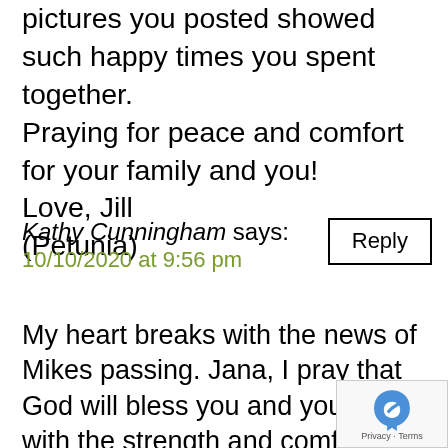pictures you posted showed such happy times you spent together.
Praying for peace and comfort for your family and you!
Love, Jill
(Petunia)
Kathy Cunningham says:
10/10/2020 at 9:56 pm
Reply
My heart breaks with the news of Mikes passing. Jana, I pray that God will bless you and your family with the strength and comfort needed to get through these hard times. Please let me know there is anything I can do for you. My love to all. God Bless. Kathy